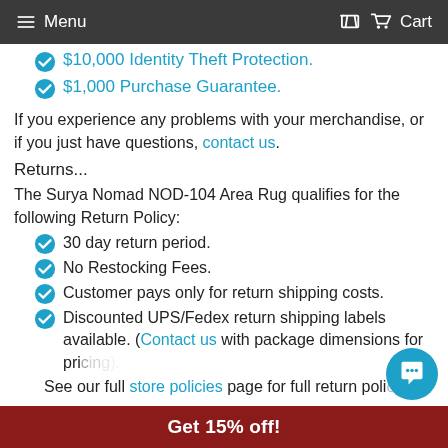Menu  Cart
$10,000 Identity Theft Protection.
$1,000 Purchase Guarantee.
If you experience any problems with your merchandise, or if you just have questions, contact us.
Returns...
The Surya Nomad NOD-104 Area Rug qualifies for the following Return Policy:
30 day return period.
No Restocking Fees.
Customer pays only for return shipping costs.
Discounted UPS/Fedex return shipping labels available. (Contact us with package dimensions for pricing.)
See our full store policies page for full return policy.